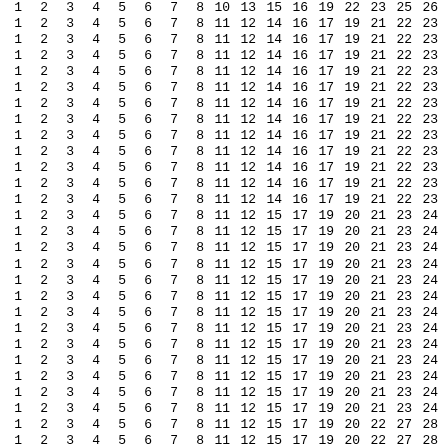| 1 | 2 | 3 | 4 | 5 | 6 | 7 | 8 | 10 | 13 | 15 | 16 | 19 | 22 | 23 | 25 | 26 | 27 | 2... |
| 1 | 2 | 3 | 4 | 5 | 6 | 7 | 8 | 11 | 12 | 14 | 16 | 17 | 19 | 21 | 22 | 23 | 24 | 2... |
| 1 | 2 | 3 | 4 | 5 | 6 | 7 | 8 | 11 | 12 | 14 | 16 | 17 | 19 | 21 | 22 | 23 | 24 | 2... |
| 1 | 2 | 3 | 4 | 5 | 6 | 7 | 8 | 11 | 12 | 14 | 16 | 17 | 19 | 21 | 22 | 23 | 24 | 2... |
| 1 | 2 | 3 | 4 | 5 | 6 | 7 | 8 | 11 | 12 | 14 | 16 | 17 | 19 | 21 | 22 | 23 | 24 | 2... |
| 1 | 2 | 3 | 4 | 5 | 6 | 7 | 8 | 11 | 12 | 14 | 16 | 17 | 19 | 21 | 22 | 23 | 24 | 2... |
| 1 | 2 | 3 | 4 | 5 | 6 | 7 | 8 | 11 | 12 | 14 | 16 | 17 | 19 | 21 | 22 | 23 | 24 | 2... |
| 1 | 2 | 3 | 4 | 5 | 6 | 7 | 8 | 11 | 12 | 14 | 16 | 17 | 19 | 21 | 22 | 23 | 24 | 2... |
| 1 | 2 | 3 | 4 | 5 | 6 | 7 | 8 | 11 | 12 | 14 | 16 | 17 | 19 | 21 | 22 | 23 | 24 | 2... |
| 1 | 2 | 3 | 4 | 5 | 6 | 7 | 8 | 11 | 12 | 14 | 16 | 17 | 19 | 21 | 22 | 23 | 24 | 2... |
| 1 | 2 | 3 | 4 | 5 | 6 | 7 | 8 | 11 | 12 | 14 | 16 | 17 | 19 | 21 | 22 | 23 | 24 | 2... |
| 1 | 2 | 3 | 4 | 5 | 6 | 7 | 8 | 11 | 12 | 14 | 16 | 17 | 19 | 21 | 22 | 23 | 24 | 2... |
| 1 | 2 | 3 | 4 | 5 | 6 | 7 | 8 | 11 | 12 | 14 | 16 | 17 | 19 | 21 | 22 | 23 | 24 | 2... |
| 1 | 2 | 3 | 4 | 5 | 6 | 7 | 8 | 11 | 12 | 15 | 17 | 19 | 20 | 21 | 23 | 24 | 25 | 2... |
| 1 | 2 | 3 | 4 | 5 | 6 | 7 | 8 | 11 | 12 | 15 | 17 | 19 | 20 | 21 | 23 | 24 | 25 | 2... |
| 1 | 2 | 3 | 4 | 5 | 6 | 7 | 8 | 11 | 12 | 15 | 17 | 19 | 20 | 21 | 23 | 24 | 25 | 2... |
| 1 | 2 | 3 | 4 | 5 | 6 | 7 | 8 | 11 | 12 | 15 | 17 | 19 | 20 | 21 | 23 | 24 | 25 | 2... |
| 1 | 2 | 3 | 4 | 5 | 6 | 7 | 8 | 11 | 12 | 15 | 17 | 19 | 20 | 21 | 23 | 24 | 25 | 2... |
| 1 | 2 | 3 | 4 | 5 | 6 | 7 | 8 | 11 | 12 | 15 | 17 | 19 | 20 | 21 | 23 | 24 | 25 | 2... |
| 1 | 2 | 3 | 4 | 5 | 6 | 7 | 8 | 11 | 12 | 15 | 17 | 19 | 20 | 21 | 23 | 24 | 25 | 2... |
| 1 | 2 | 3 | 4 | 5 | 6 | 7 | 8 | 11 | 12 | 15 | 17 | 19 | 20 | 21 | 23 | 24 | 25 | 2... |
| 1 | 2 | 3 | 4 | 5 | 6 | 7 | 8 | 11 | 12 | 15 | 17 | 19 | 20 | 21 | 23 | 24 | 25 | 2... |
| 1 | 2 | 3 | 4 | 5 | 6 | 7 | 8 | 11 | 12 | 15 | 17 | 19 | 20 | 21 | 23 | 24 | 25 | 2... |
| 1 | 2 | 3 | 4 | 5 | 6 | 7 | 8 | 11 | 12 | 15 | 17 | 19 | 20 | 21 | 23 | 24 | 25 | 2... |
| 1 | 2 | 3 | 4 | 5 | 6 | 7 | 8 | 11 | 12 | 15 | 17 | 19 | 20 | 21 | 23 | 24 | 25 | 2... |
| 1 | 2 | 3 | 4 | 5 | 6 | 7 | 8 | 11 | 12 | 15 | 17 | 19 | 20 | 22 | 27 | 28 | 29 | 3... |
| 1 | 2 | 3 | 4 | 5 | 6 | 7 | 8 | 11 | 12 | 15 | 17 | 19 | 20 | 22 | 27 | 28 | 29 | 3... |
| 1 | 2 | 3 | 4 | 5 | 6 | 7 | 8 | 11 | 12 | 15 | 17 | 19 | 20 | 22 | 27 | 28 | 29 | 3... |
| 1 | 2 | 3 | 4 | 5 | 6 | 7 | 8 | 11 | 12 | 15 | 17 | 19 | 20 | 22 | 27 | 28 | 29 | 3... |
| 1 | 2 | 3 | 4 | 5 | 6 | 7 | 8 | 11 | 12 | 15 | 17 | 19 | 20 | 22 | 27 | 28 | 29 | 3... |